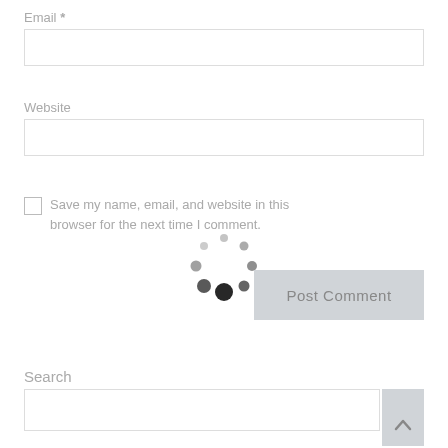Email *
Website
Save my name, email, and website in this browser for the next time I comment.
[Figure (other): Loading spinner animation — circular arrangement of dots of varying sizes in dark gray]
Post Comment
Search
S